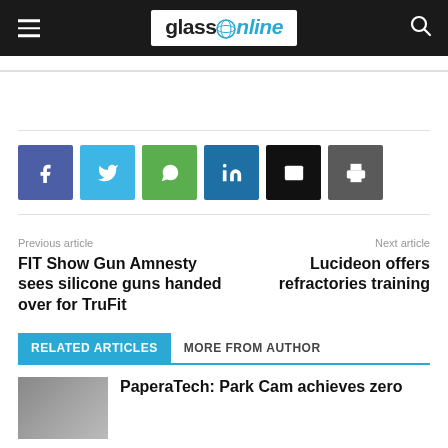glassOnline
[Figure (logo): glassOnline logo with blue globe icon in white box on dark header bar]
Previous article
FIT Show Gun Amnesty sees silicone guns handed over for TruFit
Next article
Lucideon offers refractories training
RELATED ARTICLES
MORE FROM AUTHOR
PaperaTech: Park Cam achieves zero